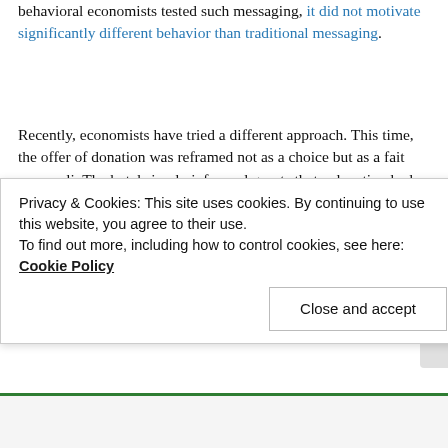behavioral economists tested such messaging, it did not motivate significantly different behavior than traditional messaging.
Recently, economists have tried a different approach. This time, the offer of donation was reframed not as a choice but as a fait accompli. The hotel simply informed guests that a donation had been made on their behalf in exchange for reusing towels. In this case, guests felt more obligated to reciprocate, lifting towel reuse by 26 percent (from Goldstein, Noah J.,Vladas Griskevicius, and Robert B. Cialdini (2012), “Reciprocity by Proxy: Harnessing the Power of Obligation to Foster Cooperation,” Administrative Science Quarterly, forthcoming, as cited by Griskevicius et al.). For
Privacy & Cookies: This site uses cookies. By continuing to use this website, you agree to their use.
To find out more, including how to control cookies, see here: Cookie Policy